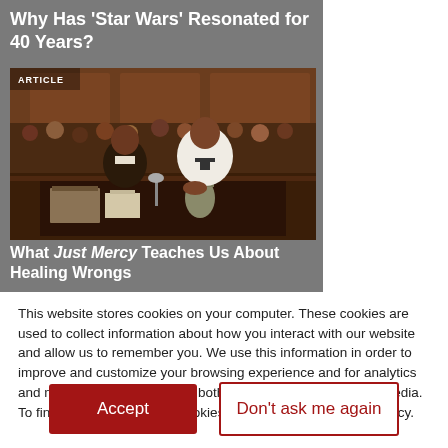Why Has 'Star Wars' Resonated for 40 Years?
[Figure (photo): Courtroom scene with two Black men standing at a defendant's table in a wood-paneled courtroom with spectators behind them. One man wears a suit, the other a white shirt. A metal pitcher and papers are on the table.]
What Just Mercy Teaches Us About Healing Wrongs
This website stores cookies on your computer. These cookies are used to collect information about how you interact with our website and allow us to remember you. We use this information in order to improve and customize your browsing experience and for analytics and metrics about our visitors both on this website and other media. To find out more about the cookies we use, see our Privacy Policy.
Accept
Don't ask me again